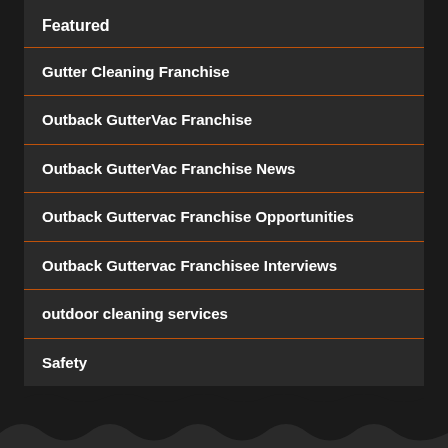Featured
Gutter Cleaning Franchise
Outback GutterVac Franchise
Outback GutterVac Franchise News
Outback Guttervac Franchise Opportunities
Outback Guttervac Franchisee Interviews
outdoor cleaning services
Safety